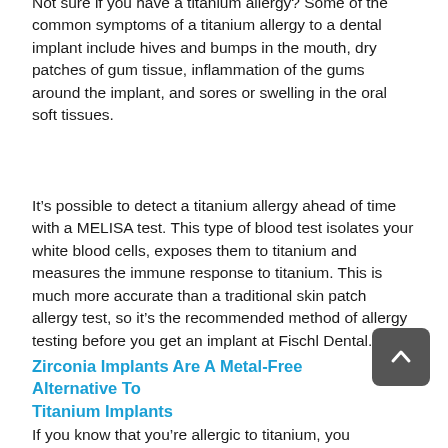Not sure if you have a titanium allergy? Some of the common symptoms of a titanium allergy to a dental implant include hives and bumps in the mouth, dry patches of gum tissue, inflammation of the gums around the implant, and sores or swelling in the oral soft tissues.
It’s possible to detect a titanium allergy ahead of time with a MELISA test. This type of blood test isolates your white blood cells, exposes them to titanium and measures the immune response to titanium. This is much more accurate than a traditional skin patch allergy test, so it’s the recommended method of allergy testing before you get an implant at Fischl Dental.
Zirconia Implants Are A Metal-Free Alternative To Titanium Implants
If you know that you’re allergic to titanium, you